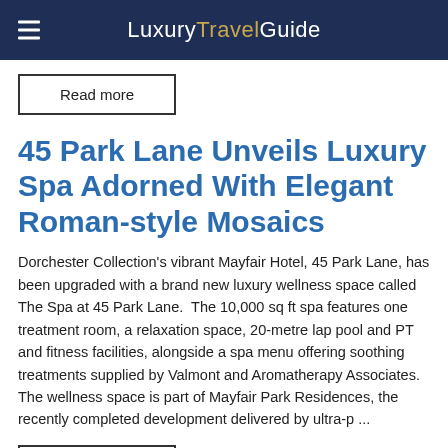Luxury Travel Guide
Read more
45 Park Lane Unveils Luxury Spa Adorned With Elegant Roman-style Mosaics
Dorchester Collection's vibrant Mayfair Hotel, 45 Park Lane, has been upgraded with a brand new luxury wellness space called The Spa at 45 Park Lane.  The 10,000 sq ft spa features one treatment room, a relaxation space, 20-metre lap pool and PT and fitness facilities, alongside a spa menu offering soothing treatments supplied by Valmont and Aromatherapy Associates.  The wellness space is part of Mayfair Park Residences, the recently completed development delivered by ultra-p ...
Read more